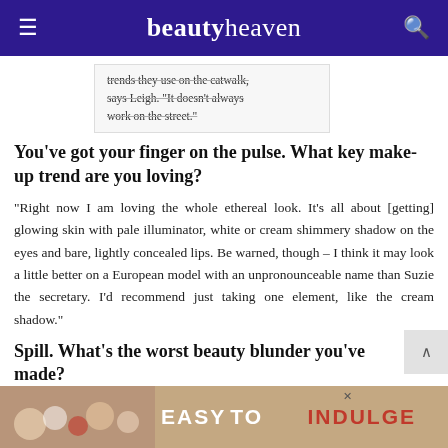beautyheaven
trends they use on the catwalk, says Leigh. "It doesn't always work on the street."
You've got your finger on the pulse. What key make-up trend are you loving?
“Right now I am loving the whole ethereal look. It’s all about [getting] glowing skin with pale illuminator, white or cream shimmery shadow on the eyes and bare, lightly concealed lips. Be warned, though – I think it may look a little better on a European model with an unpronounceable name than Suzie the secretary. I’d recommend just taking one element, like the cream shadow.”
Spill. What’s the worst beauty blunder you’ve made?
“I didn’t make it – my mother did. I was eight years old, o have any . Yes, they